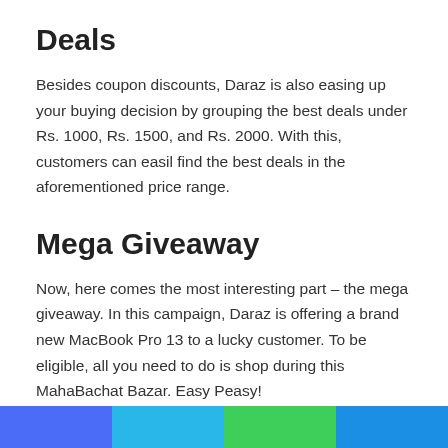Deals
Besides coupon discounts, Daraz is also easing up your buying decision by grouping the best deals under Rs. 1000, Rs. 1500, and Rs. 2000. With this, customers can easil find the best deals in the aforementioned price range.
Mega Giveaway
Now, here comes the most interesting part – the mega giveaway. In this campaign, Daraz is offering a brand new MacBook Pro 13 to a lucky customer. To be eligible, all you need to do is shop during this MahaBachat Bazar. Easy Peasy!
Banks, Visa, IME Pay Discounts